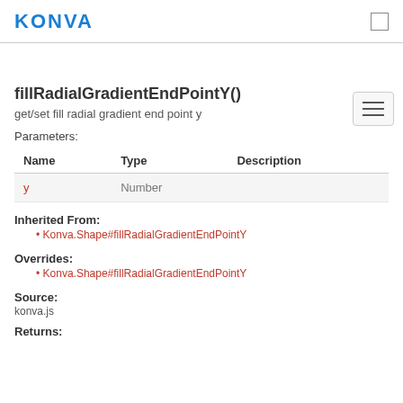KONVA
fillRadialGradientEndPointY()
get/set fill radial gradient end point y
Parameters:
| Name | Type | Description |
| --- | --- | --- |
| y | Number |  |
Inherited From:
Konva.Shape#fillRadialGradientEndPointY
Overrides:
Konva.Shape#fillRadialGradientEndPointY
Source:
konva.js
Returns: